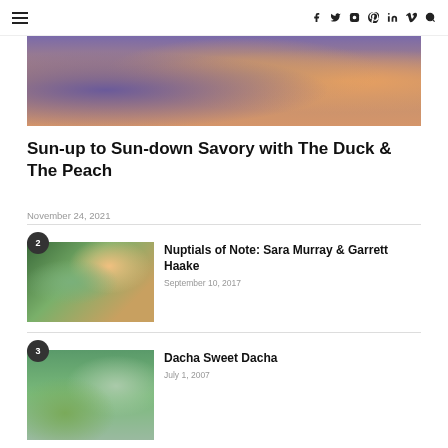≡  f  𝕥  ⊕  𝐩  in  𝐕  🔍
[Figure (photo): Close-up photo of colorful food in a bowl — visible are purple, green, orange, and brown tones suggesting fruits or a grain bowl]
Sun-up to Sun-down Savory with The Duck & The Peach
November 24, 2021
[Figure (photo): Photo of a smiling couple at what appears to be a wedding or outdoor event, with the woman holding something white]
Nuptials of Note: Sara Murray & Garrett Haake
September 10, 2017
[Figure (photo): Photo of a family of three — two adults and a child — standing outdoors near trees]
Dacha Sweet Dacha
July 1, 2007